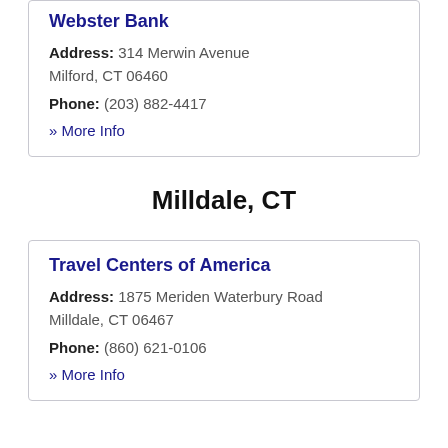Webster Bank
Address: 314 Merwin Avenue Milford, CT 06460
Phone: (203) 882-4417
» More Info
Milldale, CT
Travel Centers of America
Address: 1875 Meriden Waterbury Road Milldale, CT 06467
Phone: (860) 621-0106
» More Info